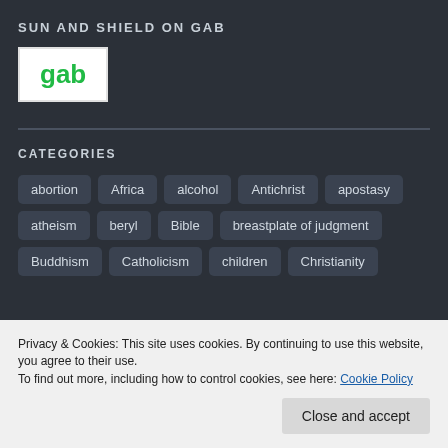SUN AND SHIELD ON GAB
[Figure (logo): Gab logo: white background box with green bold text 'gab']
CATEGORIES
abortion
Africa
alcohol
Antichrist
apostasy
atheism
beryl
Bible
breastplate of judgment
Buddhism
Catholicism
children
Christianity
Privacy & Cookies: This site uses cookies. By continuing to use this website, you agree to their use.
To find out more, including how to control cookies, see here: Cookie Policy
encouragement
End times
entertainment
evolution